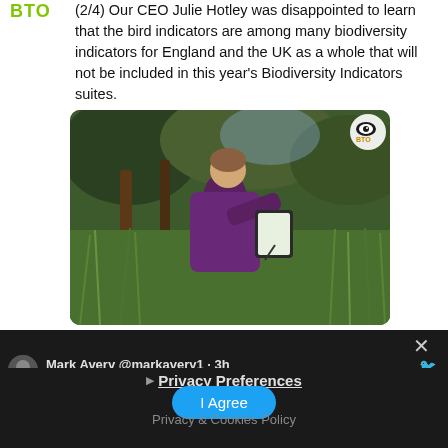(2/4) Our CEO Julie Hotley was disappointed to learn that the bird indicators are among many biodiversity indicators for England and the UK as a whole that will not be included in this year's Biodiversity Indicators suites.
[Figure (photo): A person in a purple jacket writing on a clipboard in a field of tall grass with trees behind them. BTO logo watermark in top-right corner.]
RSPB and 2 others
Mark Avery @markavery1 · 3h
▸ Privacy Preferences
I Agree
Privacy & Cookies Policy